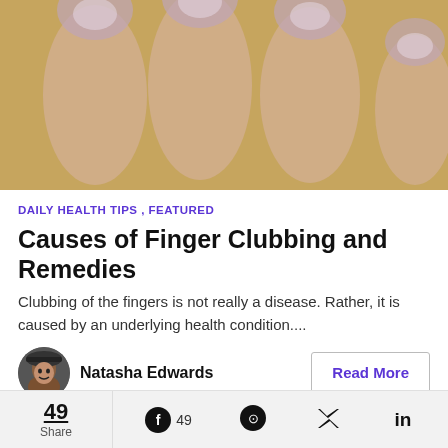[Figure (photo): Close-up photo of fingers with clubbing — enlarged, rounded fingertips with curved nails on a yellowish background.]
DAILY HEALTH TIPS , FEATURED
Causes of Finger Clubbing and Remedies
Clubbing of the fingers is not really a disease. Rather, it is caused by an underlying health condition....
Natasha Edwards
Read More
[Figure (photo): Partial view of a person's face (top of head cropped), beginning of next article preview.]
49
Share
49